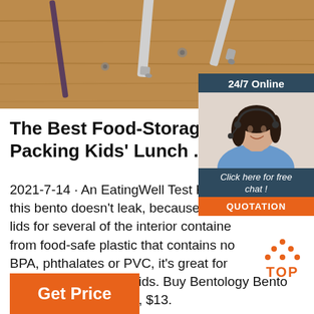[Figure (photo): Top banner photo showing kitchen utensils (spatulas/tools) on a wooden surface, overhead view]
[Figure (photo): Chat widget showing a smiling woman with headset, dark hair, blue shirt. Header says '24/7 Online', CTA says 'Click here for free chat!' with orange QUOTATION button]
The Best Food-Storage Conta Packing Kids' Lunch ...
2021-7-14 · An EatingWell Test Kitche this bento doesn't leak, because it com lids for several of the interior containe from food-safe plastic that contains no BPA, phthalates or PVC, it's great for kids and school-age kids. Buy Bentology Bento Box Set from Amazon, $13.
[Figure (illustration): Orange 'TOP' button with upward arrow icon made of dots]
[Figure (illustration): Orange 'Get Price' button]